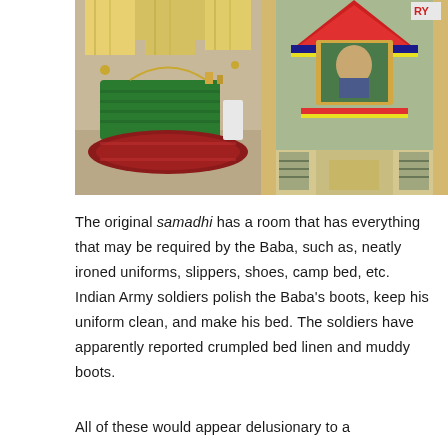[Figure (photo): Two side-by-side photographs. Left: interior room showing a green draped tomb/samadhi on an ornate rug with yellow curtains in background. Right: interior shrine with a decorated altar featuring a framed photograph/portrait at top, colorful decorations, and rows of offerings on either side.]
The original samadhi has a room that has everything that may be required by the Baba, such as, neatly ironed uniforms, slippers, shoes, camp bed, etc. Indian Army soldiers polish the Baba's boots, keep his uniform clean, and make his bed. The soldiers have apparently reported crumpled bed linen and muddy boots.
All of these would appear delusionary to a